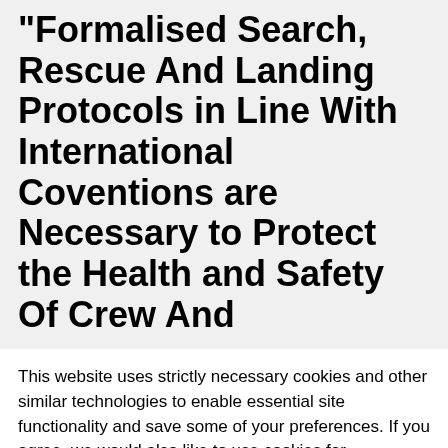"Formalised Search, Rescue And Landing Protocols in Line With International Coventions are Necessary to Protect the Health and Safety Of Crew And
This website uses strictly necessary cookies and other similar technologies to enable essential site functionality and save some of your preferences. If you agree, we would also like to use cookies for advertising and customer experience (including analytics). You may change your settings at any time or accept the default settings. For more detailed information about the cookies we use, please see our Privacy Policy.
Reject
Accept
Learn more and customise